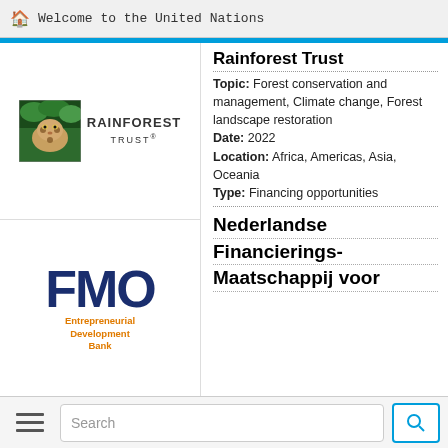Welcome to the United Nations
[Figure (logo): Rainforest Trust logo: jaguar image with green forest background, text RAINFOREST TRUST]
Rainforest Trust
Topic: Forest conservation and management, Climate change, Forest landscape restoration
Date: 2022
Location: Africa, Americas, Asia, Oceania
Type: Financing opportunities
[Figure (logo): FMO logo: large blue bold letters FMO with orange text 'Entrepreneurial Development Bank' below]
Nederlandse Financierings-Maatschappij voor
Search